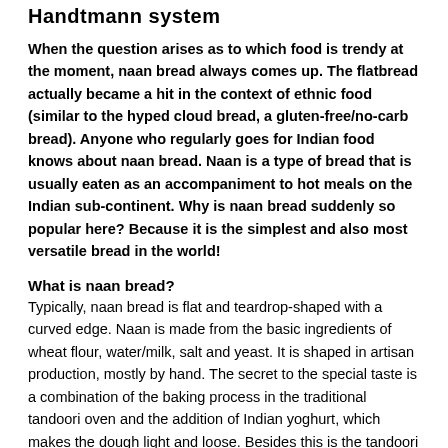Handtmann system
When the question arises as to which food is trendy at the moment, naan bread always comes up. The flatbread actually became a hit in the context of ethnic food (similar to the hyped cloud bread, a gluten-free/no-carb bread). Anyone who regularly goes for Indian food knows about naan bread. Naan is a type of bread that is usually eaten as an accompaniment to hot meals on the Indian sub-continent. Why is naan bread suddenly so popular here? Because it is the simplest and also most versatile bread in the world!
What is naan bread?
Typically, naan bread is flat and teardrop-shaped with a curved edge. Naan is made from the basic ingredients of wheat flour, water/milk, salt and yeast. It is shaped in artisan production, mostly by hand. The secret to the special taste is a combination of the baking process in the traditional tandoori oven and the addition of Indian yoghurt, which makes the dough light and loose. Besides this is the tandoori oven that is true of a result